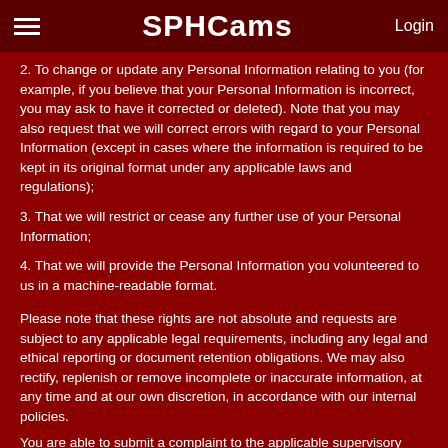SPHCams | Login
2. To change or update any Personal Information relating to you (for example, if you believe that your Personal Information is incorrect, you may ask to have it corrected or deleted). Note that you may also request that we will correct errors with regard to your Personal Information (except in cases where the information is required to be kept in its original format under any applicable laws and regulations);
3. That we will restrict or cease any further use of your Personal Information;
4. That we will provide the Personal Information you volunteered to us in a machine-readable format.
Please note that these rights are not absolute and requests are subject to any applicable legal requirements, including any legal and ethical reporting or document retention obligations. We may also rectify, replenish or remove incomplete or inaccurate information, at any time and at our own discretion, in accordance with our internal policies.
You are able to submit a complaint to the applicable supervisory